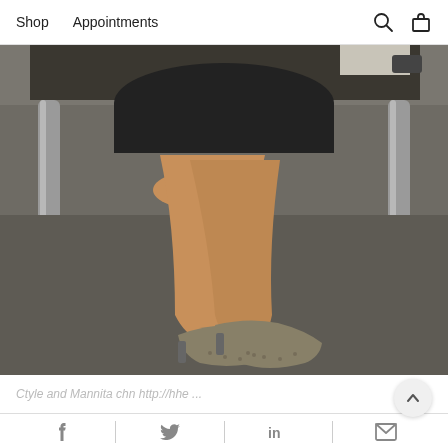Shop   Appointments
[Figure (photo): Photo of a woman's legs from thigh down, wearing a black skirt and snakeskin patterned high heel pumps, standing in an office environment with grey carpet and metal table legs visible in the background.]
Ctyle and Mannita chn http://hhe ...
f | Twitter | in | Email